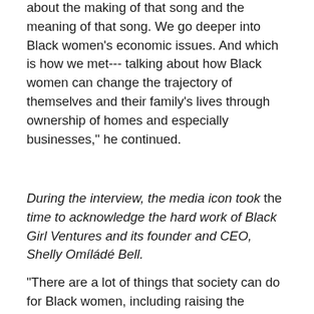spoke to Donna Summer's husband about the making of that song and the meaning of that song. We go deeper into Black women's economic issues. And which is how we met--- talking about how Black women can change the trajectory of themselves and their family's lives through ownership of homes and especially businesses," he continued.
During the interview, the media icon took the time to acknowledge the hard work of Black Girl Ventures and its founder and CEO, Shelly Omíládé Bell.
"There are a lot of things that society can do for Black women, including raising the minimum wage and